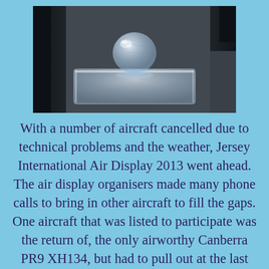[Figure (photo): A crystal glass globe sitting on a rectangular transparent acrylic or glass base, placed on a dark granite or stone surface. The background on the left side shows dark objects.]
With a number of aircraft cancelled due to technical problems and the weather, Jersey International Air Display 2013 went ahead. The air display organisers made many phone calls to bring in other aircraft to fill the gaps. One aircraft that was listed to participate was the return of, the only airworthy Canberra PR9 XH134, but had to pull out at the last moment. Those